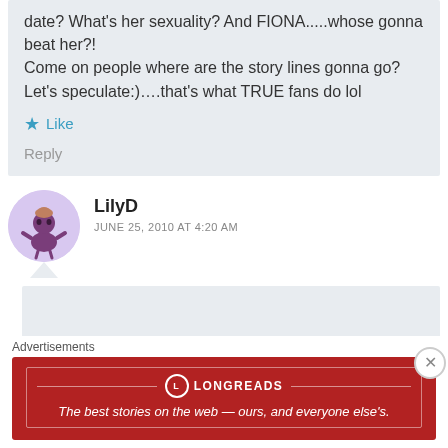date? What's her sexuality? And FIONA.....whose gonna beat her?!
Come on people where are the story lines gonna go? Let's speculate:)….that's what TRUE fans do lol
Like
Reply
LilyD
JUNE 25, 2010 AT 4:20 AM
Advertisements
[Figure (screenshot): Longreads advertisement banner: red background with Longreads logo and tagline 'The best stories on the web — ours, and everyone else's.']